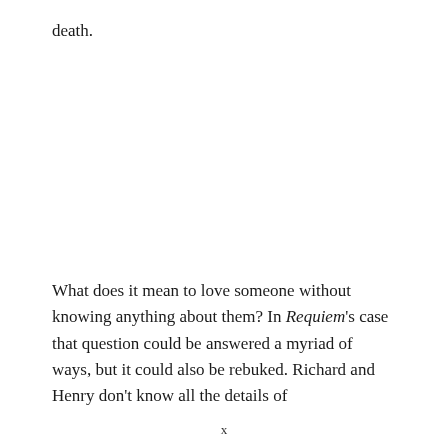death.
What does it mean to love someone without knowing anything about them? In Requiem’s case that question could be answered a myriad of ways, but it could also be rebuked. Richard and Henry don’t know all the details of
x